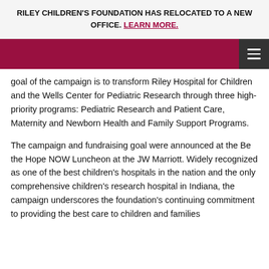RILEY CHILDREN'S FOUNDATION HAS RELOCATED TO A NEW OFFICE. LEARN MORE.
goal of the campaign is to transform Riley Hospital for Children and the Wells Center for Pediatric Research through three high-priority programs: Pediatric Research and Patient Care, Maternity and Newborn Health and Family Support Programs.
The campaign and fundraising goal were announced at the Be the Hope NOW Luncheon at the JW Marriott. Widely recognized as one of the best children's hospitals in the nation and the only comprehensive children's research hospital in Indiana, the campaign underscores the foundation's continuing commitment to providing the best care to children and families